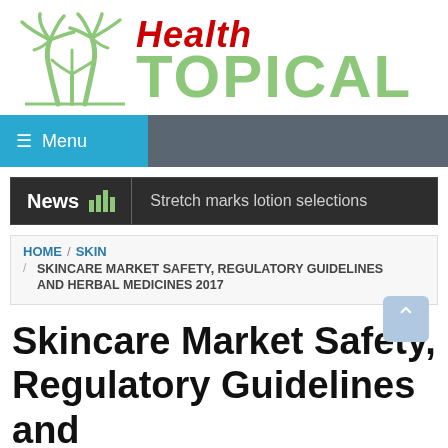[Figure (logo): Health Topical logo with palm tree illustration and stylized text]
≡ Menu
News   Stretch marks lotion selections
HOME / SKIN / SKINCARE MARKET SAFETY, REGULATORY GUIDELINES AND HERBAL MEDICINES 2017
Skincare Market Safety, Regulatory Guidelines and Herbal Medicines 2017